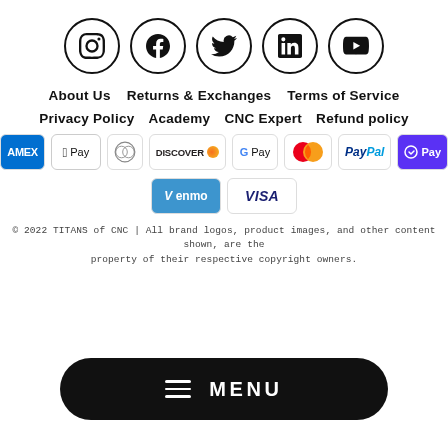[Figure (illustration): Five social media icons in circles: Instagram, Facebook, Twitter, LinkedIn, YouTube]
About Us    Returns & Exchanges    Terms of Service
Privacy Policy    Academy    CNC Expert    Refund policy
[Figure (illustration): Payment method icons: Amex, Apple Pay, Diners, Discover, Google Pay, Mastercard, PayPal, ShopPay, Venmo, Visa]
© 2022 TITANS of CNC | All brand logos, product images, and other content shown, are the property of their respective copyright owners.
[Figure (illustration): Black rounded rectangle MENU bar with hamburger icon and MENU text]